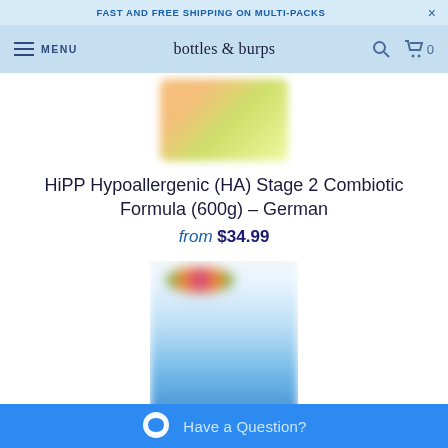FAST AND FREE SHIPPING ON MULTI-PACKS
bottles & burps — MENU — Search — Cart 0
[Figure (photo): Blurred product image of HiPP Hypoallergenic HA Stage 2 Combiotic Formula box with green and orange packaging]
HiPP Hypoallergenic (HA) Stage 2 Combiotic Formula (600g) – German
from $34.99
[Figure (photo): Blurred product image of a baby formula box with white packaging and colorful circular logo, blue and green accents]
Have a Question?